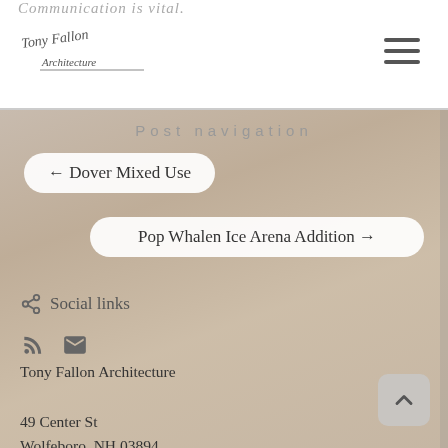Communication is vital.
[Figure (logo): Tony Fallon Architecture handwritten signature logo]
Post navigation
← Dover Mixed Use
Pop Whalen Ice Arena Addition →
Social links
RSS icon and Email icon
Tony Fallon Architecture
49 Center St
Wolfeboro, NH 03894
T: 603-269-3206
E: tony@tonyfallon.com